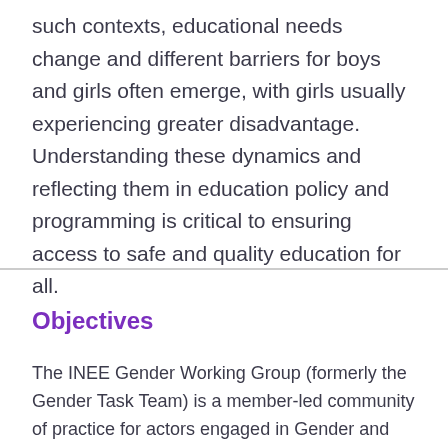such contexts, educational needs change and different barriers for boys and girls often emerge, with girls usually experiencing greater disadvantage. Understanding these dynamics and reflecting them in education policy and programming is critical to ensuring access to safe and quality education for all.
Objectives
The INEE Gender Working Group (formerly the Gender Task Team) is a member-led community of practice for actors engaged in Gender and EiE to work collaboratively to raise